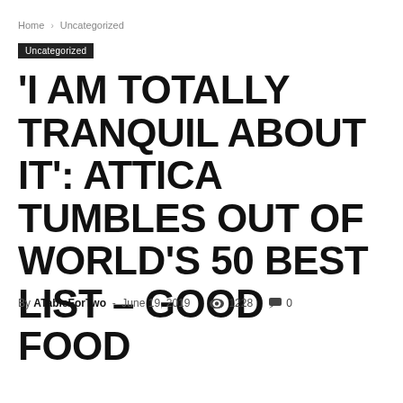Home › Uncategorized
Uncategorized
'I AM TOTALLY TRANQUIL ABOUT IT': ATTICA TUMBLES OUT OF WORLD'S 50 BEST LIST – GOOD FOOD
By ATableForTwo  -  June 19, 2019   1228   0